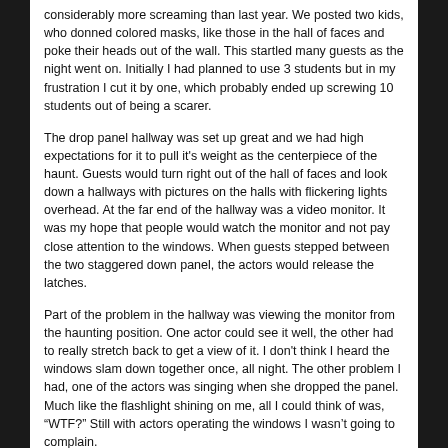considerably more screaming than last year. We posted two kids, who donned colored masks, like those in the hall of faces and poke their heads out of the wall. This startled many guests as the night went on. Initially I had planned to use 3 students but in my frustration I cut it by one, which probably ended up screwing 10 students out of being a scarer.
The drop panel hallway was set up great and we had high expectations for it to pull it's weight as the centerpiece of the haunt. Guests would turn right out of the hall of faces and look down a hallways with pictures on the halls with flickering lights overhead. At the far end of the hallway was a video monitor. It was my hope that people would watch the monitor and not pay close attention to the windows. When guests stepped between the two staggered down panel, the actors would release the latches.
Part of the problem in the hallway was viewing the monitor from the haunting position. One actor could see it well, the other had to really stretch back to get a view of it. I don't think I heard the windows slam down together once, all night. The other problem I had, one of the actors was singing when she dropped the panel. Much like the flashlight shining on me, all I could think of was, “WTF?” Still with actors operating the windows I wasn’t going to complain.
As the night wore on, one of the actors left their drop panel after it broke. I was informed the panel broke and it could not be closed with the latch. A 2" screw had sheared off and